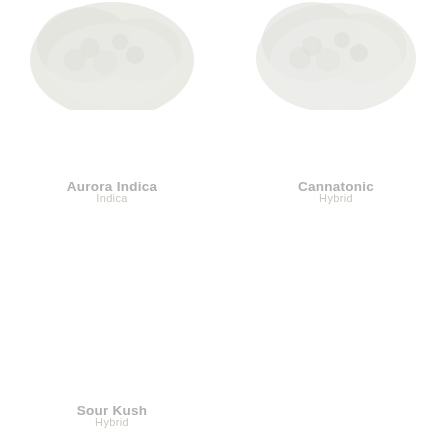[Figure (photo): Cannabis bud photo for Aurora Indica (partially cropped at top)]
Aurora Indica
Indica
[Figure (photo): Cannabis bud photo for Cannatonic (partially cropped at top)]
Cannatonic
Hybrid
[Figure (photo): Cannabis bud photo for Sour Kush]
Sour Kush
Hybrid
[Figure (photo): Cannabis bud photo for Kosher Kush]
Kosher Kush
Indica